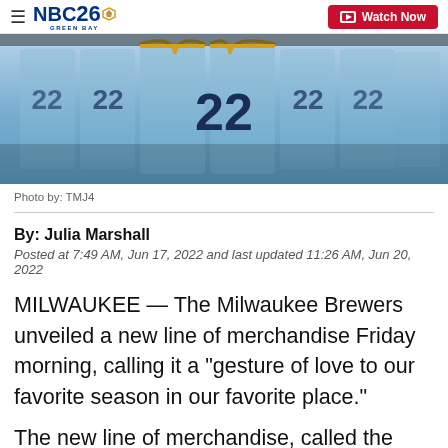NBC26 Green Bay | Watch Now
[Figure (photo): Milwaukee Brewers jerseys hanging on a rack, light blue with number 22 prominent in the center, gold and navy accents]
Photo by: TMJ4
By: Julia Marshall
Posted at 7:49 AM, Jun 17, 2022 and last updated 11:26 AM, Jun 20, 2022
MILWAUKEE — The Milwaukee Brewers unveiled a new line of merchandise Friday morning, calling it a "gesture of love to our favorite season in our favorite place."
The new line of merchandise, called the Nike MLB